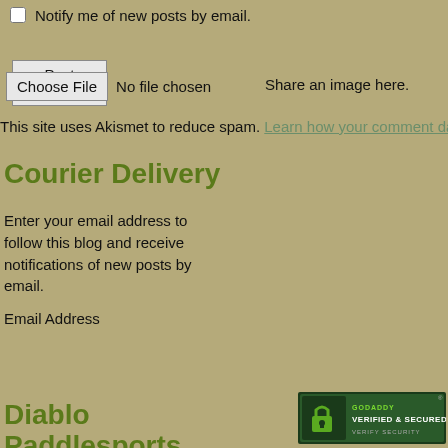Notify me of new posts by email.
Post Comment
Choose File  No file chosen    Share an image here.
This site uses Akismet to reduce spam. Learn how your comment dat
Courier Delivery
Enter your email address to follow this blog and receive notifications of new posts by email.
Email Address
Follow
Diablo Paddlesports
[Figure (logo): GoDaddy Verified & Secured badge]